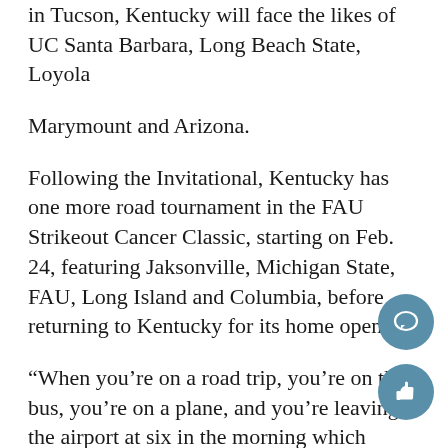in Tucson, Kentucky will face the likes of UC Santa Barbara, Long Beach State, Loyola
Marymount and Arizona.
Following the Invitational, Kentucky has one more road tournament in the FAU Strikeout Cancer Classic, starting on Feb. 24, featuring Jaksonville, Michigan State, FAU, Long Island and Columbia, before returning to Kentucky for its home opener.
“When you’re on a road trip, you’re on the bus, you’re on a plane, and you’re leaving the airport at six in the morning which means you’ve got to be up by three,” Lawson said. “When you’re together that much, it is either going to really bring a team together or it’s going to make them fall apart, and fortunately I have good personalities on my team that understand that value and respect each oth…